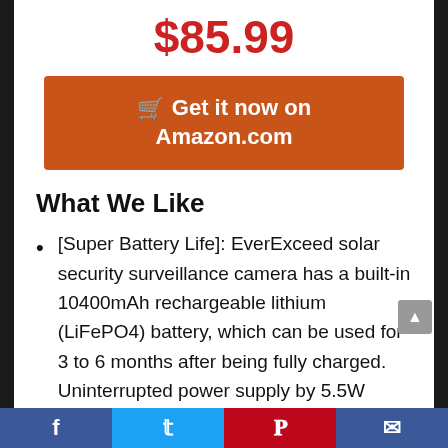$85.99
[Figure (other): Orange Amazon buy button with shopping cart icon reading 'Get it now on Amazon.com']
What We Like
[Super Battery Life]: EverExceed solar security surveillance camera has a built-in 10400mAh rechargeable lithium (LiFePO4) battery, which can be used for 3 to 6 months after being fully charged. Uninterrupted power supply by 5.5W removable solar panels, so
Facebook  Twitter  Pinterest  Email social share bar